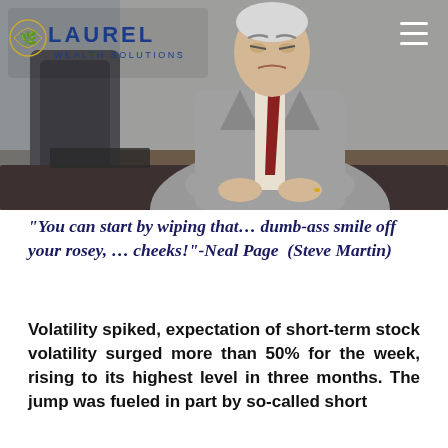[Figure (photo): A man in a gray suit with a red tie, appearing frustrated or agitated, sitting at a desk in an office setting. Laurel Wealth Solutions logo visible in the top left corner.]
“You can start by wiping that… dumb-ass smile off your rosey, … cheeks!”-Neal Page  (Steve Martin)
Volatility spiked, expectation of short-term stock volatility surged more than 50% for the week, rising to its highest level in three months. The jump was fueled in part by so-called short